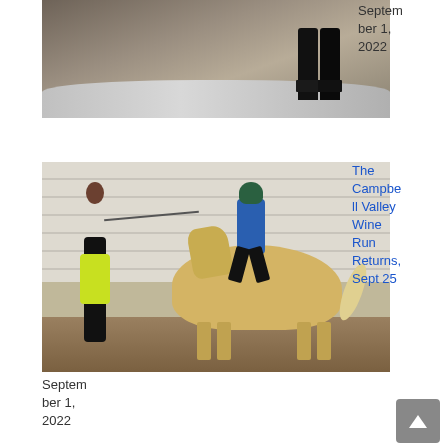[Figure (photo): Wine bottles in a metal ice tub/bucket, shot from above at an angle]
September 1, 2022
[Figure (photo): A child rider on a light-colored horse being led by a handler in a yellow vest and black clothing, inside an equestrian arena with white slatted walls]
The Campbell Valley Wine Run Returns, Sept 25
September 1, 2022